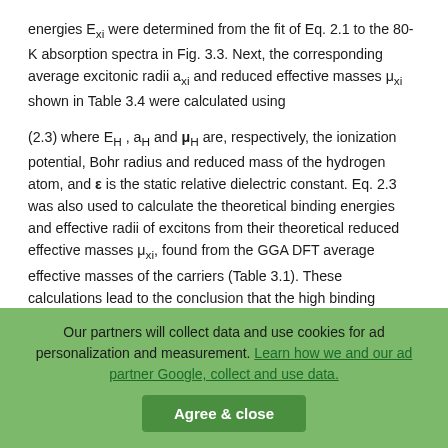energies Exi were determined from the fit of Eq. 2.1 to the 80-K absorption spectra in Fig. 3.3. Next, the corresponding average excitonic radii axi and reduced effective masses μxi shown in Table 3.4 were calculated using
(2.3) where EH , aH and μH are, respectively, the ionization potential, Bohr radius and reduced mass of the hydrogen atom, and ε is the static relative dielectric constant. Eq. 2.3 was also used to calculate the theoretical binding energies and effective radii of excitons from their theoretical reduced effective masses μxi, found from the GGA DFT average effective masses of the carriers (Table 3.1). These calculations lead to the conclusion that the high binding energies of the excitons in BaCuChF (Ch = S, Se) result from high outof-plane effective mass of the holes. The corresponding average effective radius of the excitons is comparable to 1 c-axis- or 2 a-axis lattice constants in BaCuChF, close to the limit where macroscopic parameters such as ε are meaningful. The dielectric constant of BaCuChF was approximated by a
Our partners will collect data and use cookies for ad personalization and measurement. Learn how we and our ad partner Google, collect and use data.